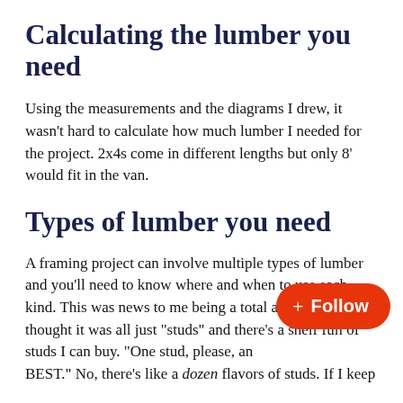Calculating the lumber you need
Using the measurements and the diagrams I drew, it wasn't hard to calculate how much lumber I needed for the project. 2x4s come in different lengths but only 8' would fit in the van.
Types of lumber you need
A framing project can involve multiple types of lumber and you'll need to know where and when to use each kind. This was news to me being a total amateur. I thought it was all just "studs" and there's a shelf full of studs I can buy. "One stud, please, and make it the BEST." No, there's like a dozen flavors of studs. If I keep